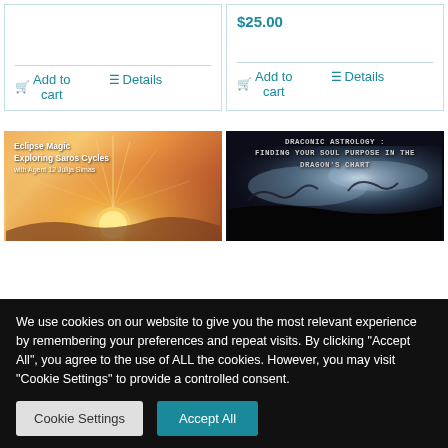$25.00
Add to cart
Details
Add to cart
Details
[Figure (photo): Eclipse Magic: Exploring Saros Cycles with Agent 12 Julija Simas — warm orange/golden sky with eclipse]
[Figure (photo): Draconic Astrology: Finding Your Soul Purpose in the Dragon's Chart — dark sky with bright light and silhouettes]
We use cookies on our website to give you the most relevant experience by remembering your preferences and repeat visits. By clicking "Accept All", you agree to the use of ALL the cookies. However, you may visit "Cookie Settings" to provide a controlled consent.
Cookie Settings
Accept All